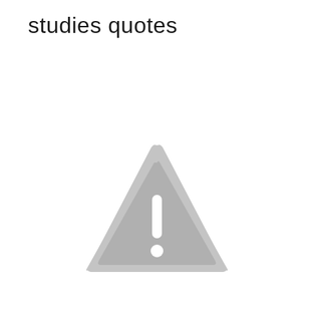studies quotes
[Figure (illustration): A grey warning triangle icon with rounded corners and a white exclamation mark (vertical bar and dot) in the center, centered on the lower half of the page.]